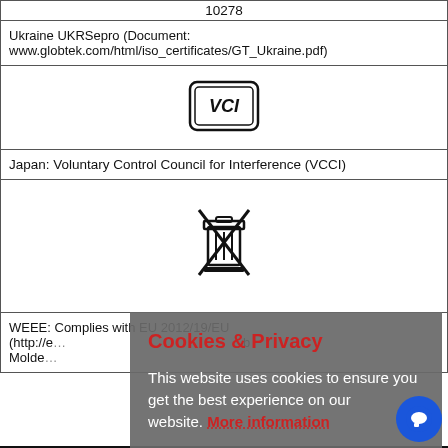| 10278 (truncated) |
| Ukraine UKRSepro (Document: www.globtek.com/html/iso_certificates/GT_Ukraine.pdf) |
| [VCCI logo image] |
| Japan: Voluntary Control Council for Interference (VCCI) |
| [WEEE symbol image] |
| WEEE: Complies with EU 2012/19/EU
(http://e... b
Molde... |
Popular
| SKU |  |
| Volts O |  |
| Curren |  |
| Conne |  |
| RFQ |  |
[Figure (other): Cookies & Privacy overlay: grey semi-transparent box with red title 'Cookies & Privacy', body text 'This website uses cookies to ensure you get the best experience on our website. More information', and a red 'Accept Cookies' button.]
[Figure (other): Blue circular chat bubble icon in bottom right corner]